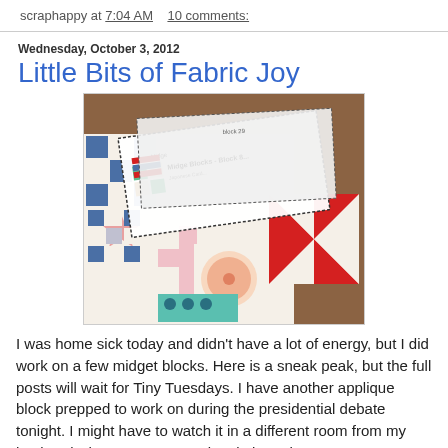scraphappy at 7:04 AM   10 comments:
Wednesday, October 3, 2012
Little Bits of Fabric Joy
[Figure (photo): Photo of quilt blocks and Midge Blocks pattern cards laid out on a wooden surface, showing colorful patchwork quilt squares in blue, red, pink, teal, and white patterns, with printed instruction cards visible on top.]
I was home sick today and didn't have a lot of energy, but I did work on a few midget blocks.  Here is a sneak peak, but the full posts will wait for Tiny Tuesdays.  I have another applique block prepped to work on during the presidential debate tonight.  I might have to watch it in a different room from my husband who gets very emotional about these things.